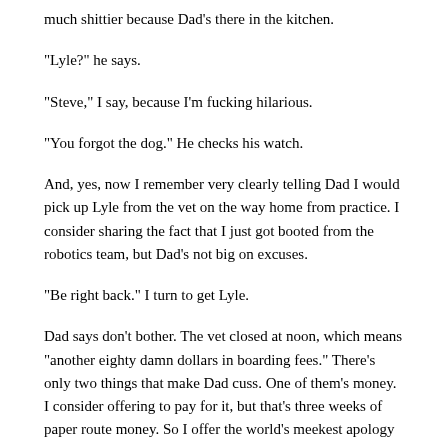much shittier because Dad's there in the kitchen.
“Lyle?” he says.
“Steve,” I say, because I’m fucking hilarious.
“You forgot the dog.” He checks his watch.
And, yes, now I remember very clearly telling Dad I would pick up Lyle from the vet on the way home from practice. I consider sharing the fact that I just got booted from the robotics team, but Dad’s not big on excuses.
“Be right back.” I turn to get Lyle.
Dad says don’t bother. The vet closed at noon, which means “another eighty damn dollars in boarding fees.” There’s only two things that make Dad cuss. One of them’s money.  I consider offering to pay for it, but that’s three weeks of paper route money. So I offer the world’s meekest apology and slink upstairs.
I have plenty of homework, but what’s the point? So I pull on